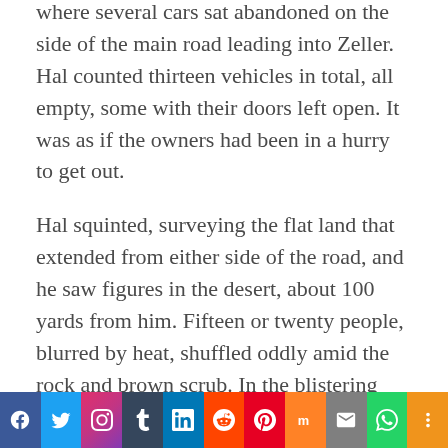where several cars sat abandoned on the side of the main road leading into Zeller. Hal counted thirteen vehicles in total, all empty, some with their doors left open. It was as if the owners had been in a hurry to get out.
Hal squinted, surveying the flat land that extended from either side of the road, and he saw figures in the desert, about 100 yards from him. Fifteen or twenty people, blurred by heat, shuffled oddly amid the rock and brown scrub. In the blistering light they looked like slender charcoal etchings, and Hal watched them move
[Figure (other): Social media sharing bar with icons for Facebook, Twitter, Instagram, Tumblr, LinkedIn, Reddit, Pinterest, Mix, Email, WhatsApp, and More]